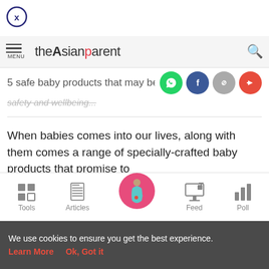[Figure (illustration): Close/dismiss button — circle with X, dark blue outline]
theAsianparent — navigation bar with menu icon and search icon
5 safe baby products that may be da...
safety and wellbeing...
When babies comes into our lives, along with them comes a range of specially-crafted baby products that promise to
Tools | Articles | (home) | Feed | Poll
We use cookies to ensure you get the best experience.
Learn More   Ok, Got it